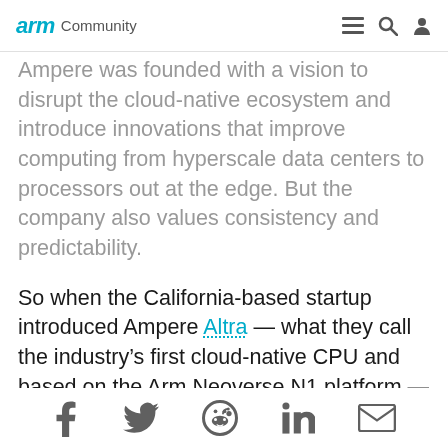arm Community
Ampere was founded with a vision to disrupt the cloud-native ecosystem and introduce innovations that improve computing from hyperscale data centers to processors out at the edge. But the company also values consistency and predictability.
So when the California-based startup introduced Ampere Altra — what they call the industry's first cloud-native CPU and based on the Arm Neoverse N1 platform — the goal was not only to be first in class. Ampere also aims to be the last one standing.